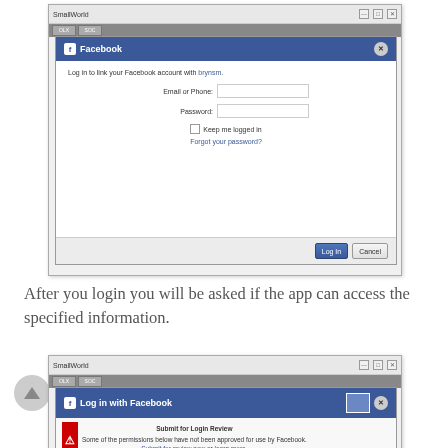[Figure (screenshot): SmallWorld application window showing a Facebook login dialog with Email or Phone and Password fields, Keep me logged in checkbox, Forgot your password link, and Log In / Cancel buttons.]
After you login you will be asked if the app can access the specified information.
[Figure (screenshot): SmallWorld application window showing a Log in with Facebook dialog with a Submit for Login Review warning panel indicating some permissions have not been approved by Facebook, with thumbnail images below.]